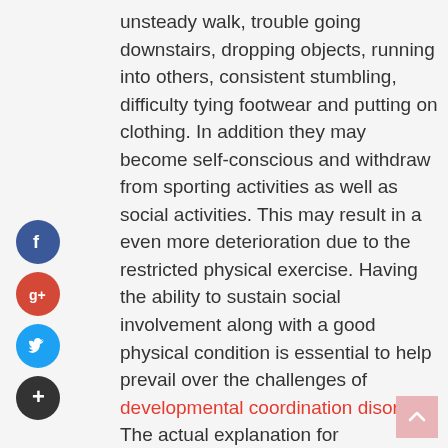unsteady walk, trouble going downstairs, dropping objects, running into others, consistent stumbling, difficulty tying footwear and putting on clothing. In addition they may become self-conscious and withdraw from sporting activities as well as social activities. This may result in a even more deterioration due to the restricted physical exercise. Having the ability to sustain social involvement along with a good physical condition is essential to help prevail over the challenges of developmental coordination disorder. The actual explanation for developmental coordination disorder is not apparent and certainly not well comprehended. This is a result of delayed brain development, but the factors